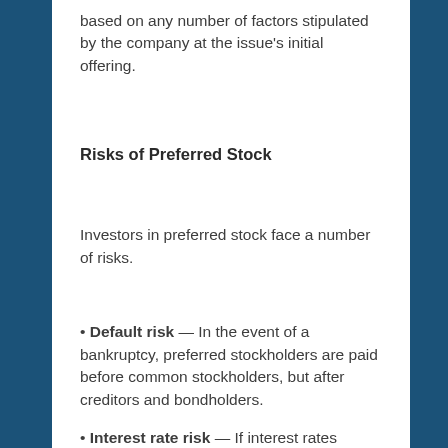based on any number of factors stipulated by the company at the issue's initial offering.
Risks of Preferred Stock
Investors in preferred stock face a number of risks.
• Default risk — In the event of a bankruptcy, preferred stockholders are paid before common stockholders, but after creditors and bondholders.
• Interest rate risk — If interest rates decline,